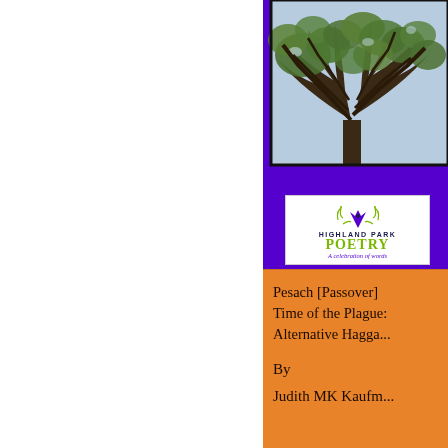[Figure (photo): Photograph of tree canopy with branches and green leaves against a bright sky, framed by a purple border background]
[Figure (logo): Highland Park Poetry logo: stylized tulip/bird icon in purple and green, text 'HIGHLAND PARK POETRY A celebration of words']
Pesach [Passover] Time of the Plague: Alternative Hagga...
By
Judith MK Kaufm...